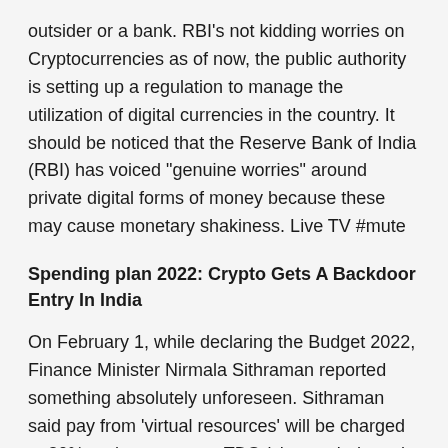outsider or a bank. RBI's not kidding worries on Cryptocurrencies as of now, the public authority is setting up a regulation to manage the utilization of digital currencies in the country. It should be noticed that the Reserve Bank of India (RBI) has voiced "genuine worries" around private digital forms of money because these may cause monetary shakiness. Live TV #mute
Spending plan 2022: Crypto Gets A Backdoor Entry In India
On February 1, while declaring the Budget 2022, Finance Minister Nirmala Sithraman reported something absolutely unforeseen. Sithraman said pay from 'virtual resources' will be charged at 30% and one percent TDS (charge deducted at source) will be deducted on these ventures. The public authority characterizes virtual resources as any